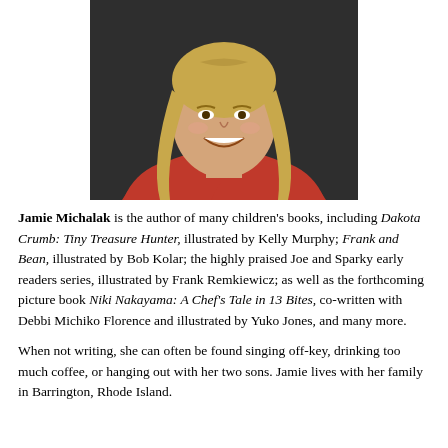[Figure (photo): Headshot photo of Jamie Michalak, a woman with long blonde hair wearing a red top, smiling, against a dark background.]
Jamie Michalak is the author of many children's books, including Dakota Crumb: Tiny Treasure Hunter, illustrated by Kelly Murphy; Frank and Bean, illustrated by Bob Kolar; the highly praised Joe and Sparky early readers series, illustrated by Frank Remkiewicz; as well as the forthcoming picture book Niki Nakayama: A Chef's Tale in 13 Bites, co-written with Debbi Michiko Florence and illustrated by Yuko Jones, and many more.
When not writing, she can often be found singing off-key, drinking too much coffee, or hanging out with her two sons. Jamie lives with her family in Barrington, Rhode Island.